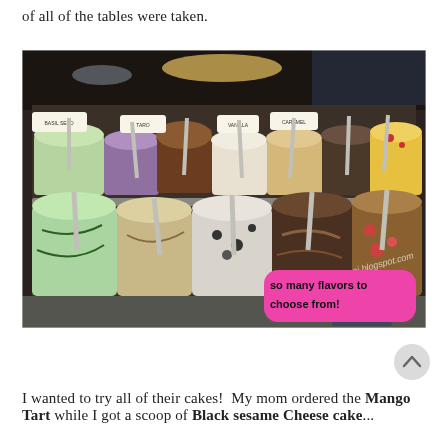of all of the tables were taken.
[Figure (photo): A gelato/ice cream display case showing many flavors in stainless steel containers, each with a serving scoop. Small label signs identify each flavor. A pink handwritten annotation reads 'so many flavors to choose from!' and a watermark reads 'joooeei.blogspot.com'.]
I wanted to try all of their cakes!  My mom ordered the Mango Tart while I got a scoop of Black sesame Cheese cake...